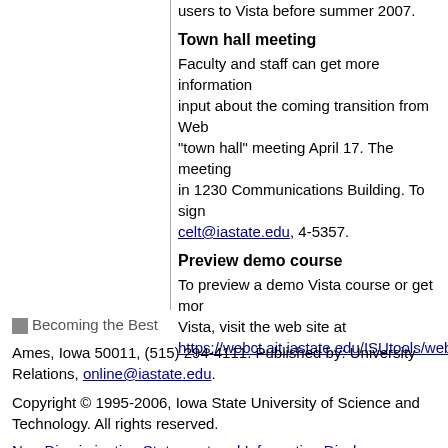users to Vista before summer 2007.
Town hall meeting
Faculty and staff can get more information and input about the coming transition from WebCT at a "town hall" meeting April 17. The meeting will be in 1230 Communications Building. To sign up, contact celt@iastate.edu, 4-5357.
Preview demo course
To preview a demo Vista course or get more info on Vista, visit the web site at https://webct.ait.iastate.edu/ISUtools/webh...
[Figure (logo): Becoming the Best logo image]
Ames, Iowa 50011, (515) 294-4111. Published by: University Relations, online@iastate.edu.
Copyright © 1995-2006, Iowa State University of Science and Technology. All rights reserved.
Non-Discrimination Statement and Information Disclosures